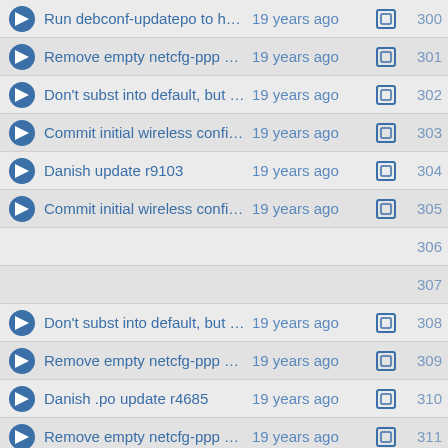Run debconf-updatepo to have... 19 years ago 300
Remove empty netcfg-ppp pac... 19 years ago 301
Don't subst into default, but se... 19 years ago 302
Commit initial wireless configu... 19 years ago 303
Danish update r9103 19 years ago 304
Commit initial wireless configu... 19 years ago 305
306
307
Don't subst into default, but se... 19 years ago 308
Remove empty netcfg-ppp pac... 19 years ago 309
Danish .po update r4685 19 years ago 310
Remove empty netcfg-ppp pac... 19 years ago 311
Run debconf-updatepo to have... 19 years ago 312
Remove empty netcfg-ppp pac... 19 years ago 313
Don't subst into default, but se... 19 years ago 314
Remove empty netcfg-ppp pac... 19 years ago 315
Danish .po update r4685 19 years ago 316
Remove empty netcfg-ppp pac... 19 years ago 317
Run debconf-updatepo to have... 19 years ago 318
Remove empty netcfg-ppp pac... 19 years ago 319